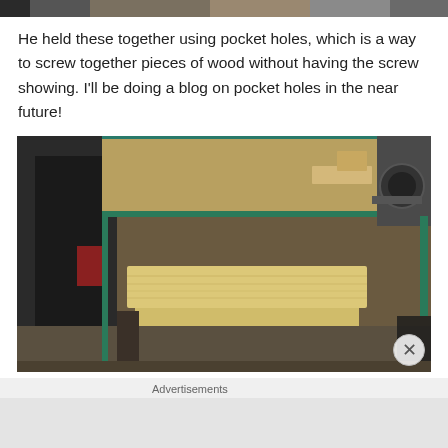[Figure (photo): Partial view of a person in dark jacket, woodworking bench/stool made of light pine wood being assembled, with clamps visible, in a workshop setting.]
He held these together using pocket holes, which is a way to screw together pieces of wood without having the screw showing. I'll be doing a blog on pocket holes in the near future!
[Figure (photo): A wooden step stool or small bench made of light pine/cedar wood sitting on a workbench with clamps. A person in a dark jacket is visible in the background in a workshop setting.]
Advertisements